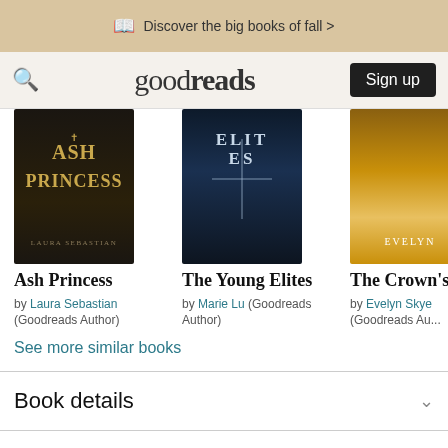Discover the big books of fall >
goodreads  Sign up
[Figure (illustration): Book cover: Ash Princess by Laura Sebastian, dark background with gold lettering]
Ash Princess
by Laura Sebastian (Goodreads Author)
[Figure (illustration): Book cover: The Young Elites by Marie Lu, dark stormy background with title text]
The Young Elites
by Marie Lu (Goodreads Author)
[Figure (illustration): Book cover: The Crown's by Evelyn Skye, golden ornate background]
The Crown's
by Evelyn Skye (Goodreads Au...
See more similar books
Book details
About this author
Genres